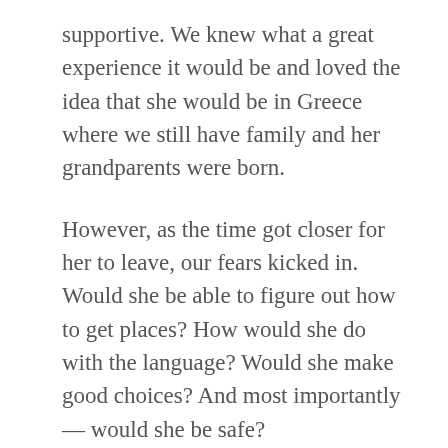supportive. We knew what a great experience it would be and loved the idea that she would be in Greece where we still have family and her grandparents were born.
However, as the time got closer for her to leave, our fears kicked in. Would she be able to figure out how to get places? How would she do with the language? Would she make good choices? And most importantly — would she be safe?
As our daughter's departure came closer, I found I was constantly talking to her about safety. With recent acts of terrorism taking